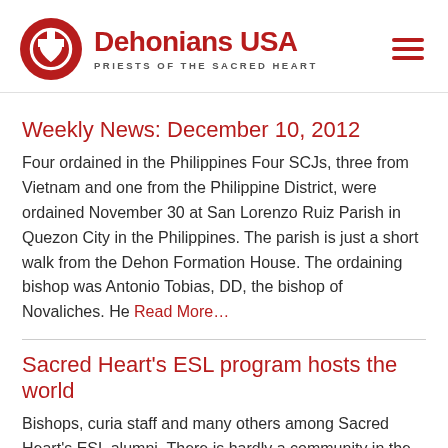Dehonians USA — PRIESTS OF THE SACRED HEART
Weekly News: December 10, 2012
Four ordained in the Philippines Four SCJs, three from Vietnam and one from the Philippine District, were ordained November 30 at San Lorenzo Ruiz Parish in Quezon City in the Philippines. The parish is just a short walk from the Dehon Formation House. The ordaining bishop was Antonio Tobias, DD, the bishop of Novaliches. He Read More…
Sacred Heart's ESL program hosts the world
Bishops, curia staff and many others among Sacred Heart's ESL alumni. There is hardly a community in the